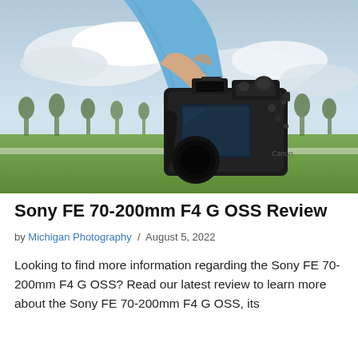[Figure (photo): A person in a blue sweater holding a Canon DSLR camera up by its grip outdoors, with a green field, row of trees, and cloudy sky visible in the background. Low-angle shot looking up at the camera.]
Sony FE 70-200mm F4 G OSS Review
by Michigan Photography / August 5, 2022
Looking to find more information regarding the Sony FE 70-200mm F4 G OSS? Read our latest review to learn more about the Sony FE 70-200mm F4 G OSS, its